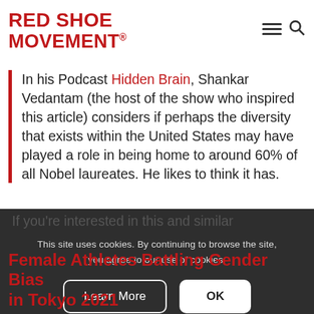RED SHOE MOVEMENT®
In his Podcast Hidden Brain, Shankar Vedantam (the host of the show who inspired this article) considers if perhaps the diversity that exists within the United States may have played a role in being home to around 60% of all Nobel laureates. He likes to think it has.
If you're interested in this and similar
This site uses cookies. By continuing to browse the site, you agree to our use of cookies.
Female Athletes Battling Gender Bias in Tokyo 2021